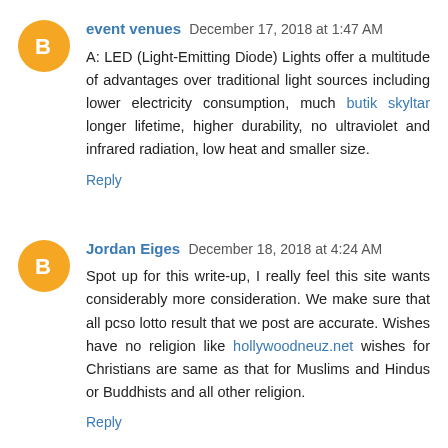event venues  December 17, 2018 at 1:47 AM
A: LED (Light-Emitting Diode) Lights offer a multitude of advantages over traditional light sources including lower electricity consumption, much butik skyltar longer lifetime, higher durability, no ultraviolet and infrared radiation, low heat and smaller size.
Reply
Jordan Eiges  December 18, 2018 at 4:24 AM
Spot up for this write-up, I really feel this site wants considerably more consideration. We make sure that all pcso lotto result that we post are accurate. Wishes have no religion like hollywoodneuz.net wishes for Christians are same as that for Muslims and Hindus or Buddhists and all other religion.
Reply